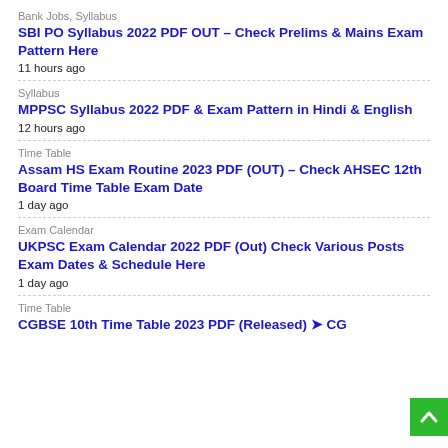Bank Jobs, Syllabus
SBI PO Syllabus 2022 PDF OUT – Check Prelims & Mains Exam Pattern Here
11 hours ago
Syllabus
MPPSC Syllabus 2022 PDF & Exam Pattern in Hindi & English
12 hours ago
Time Table
Assam HS Exam Routine 2023 PDF (OUT) – Check AHSEC 12th Board Time Table Exam Date
1 day ago
Exam Calendar
UKPSC Exam Calendar 2022 PDF (Out) Check Various Posts Exam Dates & Schedule Here
1 day ago
Time Table
CGBSE 10th Time Table 2023 PDF (Released) ➤ CG